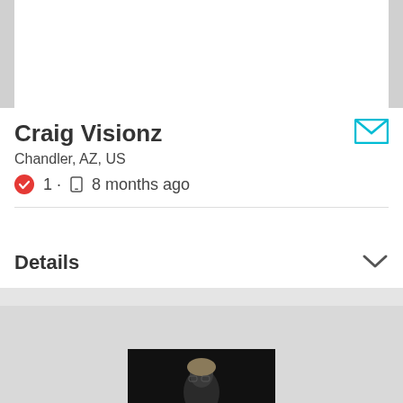[Figure (photo): Top portion of a user profile page with white background and gray side borders]
Craig Visionz
Chandler, AZ, US
1 · 8 months ago
Details
[Figure (photo): Dark photograph showing a person with light hair, partially visible at bottom of page, on gray background]